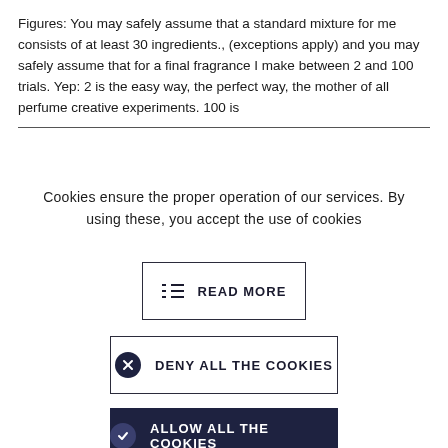Figures: You may safely assume that a standard mixture for me consists of at least 30 ingredients., (exceptions apply) and you may safely assume that for a final fragrance I make between 2 and 100 trials. Yep: 2 is the easy way, the perfect way, the mother of all perfume creative experiments. 100 is
Cookies ensure the proper operation of our services. By using these, you accept the use of cookies
≡ READ MORE
✕ DENY ALL THE COOKIES
✓ ALLOW ALL THE COOKIES